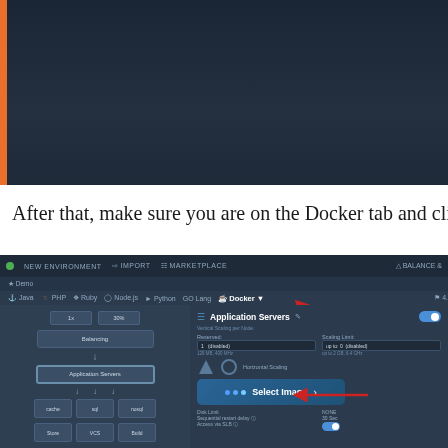[Figure (screenshot): Screenshot of a cloud hosting platform showing a dark-themed UI with an orange left border. The interface appears to be a Jelastic/cloud environment management panel.]
After that, make sure you are on the Docker tab and click on “S
[Figure (screenshot): Screenshot of a cloud platform environment creation interface showing tabs for Java, PHP, Ruby, Node.js, Python, GO Lang, and Docker (selected). The Docker tab is highlighted with a red arrow. The Application Servers section is shown with a 'Select Image' button highlighted with another red arrow. Orange annotation text reads 'Make su...' on the right side.]